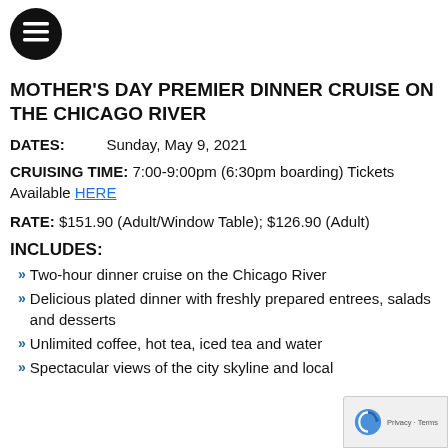[Figure (logo): Hamburger menu icon — three horizontal lines on a black circle]
MOTHER'S DAY PREMIER DINNER CRUISE ON THE CHICAGO RIVER
DATES: Sunday, May 9, 2021
CRUISING TIME: 7:00-9:00pm (6:30pm boarding) Tickets Available HERE
RATE: $151.90 (Adult/Window Table); $126.90 (Adult)
INCLUDES:
Two-hour dinner cruise on the Chicago River
Delicious plated dinner with freshly prepared entrees, salads and desserts
Unlimited coffee, hot tea, iced tea and water
Spectacular views of the city skyline and local